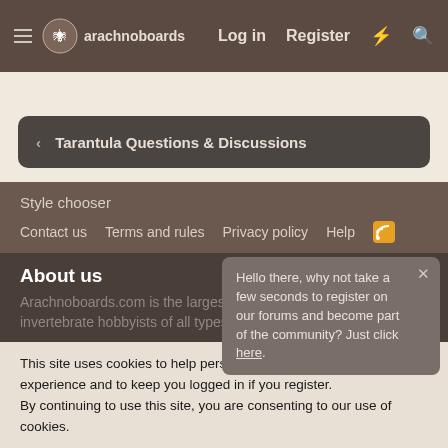arachnoboards — Log in  Register
Tarantula Questions & Discussions
Style chooser
Contact us  Terms and rules  Privacy policy  Help
About us
Hello there, why not take a few seconds to register on our forums and become part of the community? Just click here.
Arachnoboards.com is the largest forum community for invertebrate hobbyists of all types!
This site uses cookies to help personalise content, tailor your experience and to keep you logged in if you register.
By continuing to use this site, you are consenting to our use of cookies.
✓ Accept   Learn more...